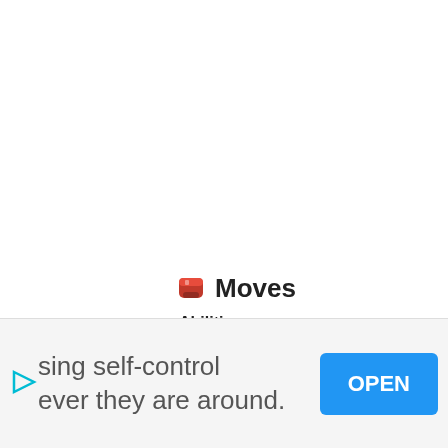🥊 Moves
Abilities
|  |  |
| --- | --- |
| Vital Spirit | Prevents sleep. |
| Anger Point | Raises Attack to the ma... |
sing self-control
ever they are around.